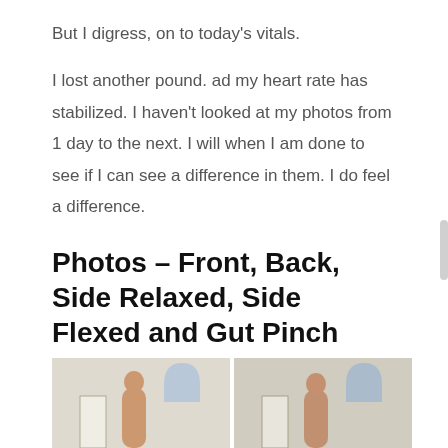But I digress, on to today's vitals.
I lost another pound. ad my heart rate has stabilized. I haven't looked at my photos from 1 day to the next. I will when I am done to see if I can see a difference in them. I do feel a difference.
Photos – Front, Back, Side Relaxed, Side Flexed and Gut Pinch
[Figure (photo): Two side-by-side photos showing front and back view of a person standing in a room with an arched window visible in the background.]